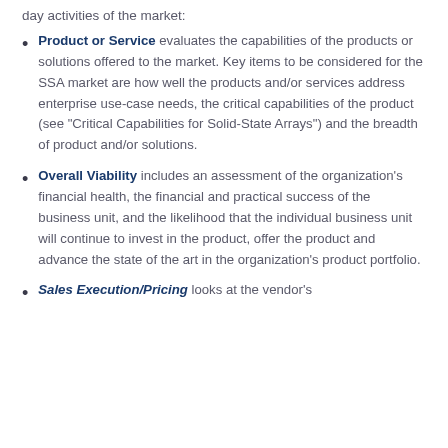day activities of the market:
Product or Service evaluates the capabilities of the products or solutions offered to the market. Key items to be considered for the SSA market are how well the products and/or services address enterprise use-case needs, the critical capabilities of the product (see “Critical Capabilities for Solid-State Arrays”) and the breadth of product and/or solutions.
Overall Viability includes an assessment of the organization’s financial health, the financial and practical success of the business unit, and the likelihood that the individual business unit will continue to invest in the product, offer the product and advance the state of the art in the organization’s product portfolio.
Sales Execution/Pricing looks at the vendor’s...